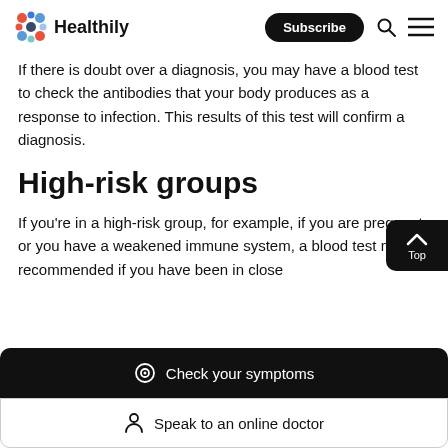[Figure (logo): Healthily logo with colorful dot icon and bold text 'Healthily', plus Subscribe button, search icon, and hamburger menu icon in the header]
If there is doubt over a diagnosis, you may have a blood test to check the antibodies that your body produces as a response to infection. This results of this test will confirm a diagnosis.
High-risk groups
If you're in a high-risk group, for example, if you are pregnant or you have a weakened immune system, a blood test may be recommended if you have been in close
Check your symptoms
Speak to an online doctor